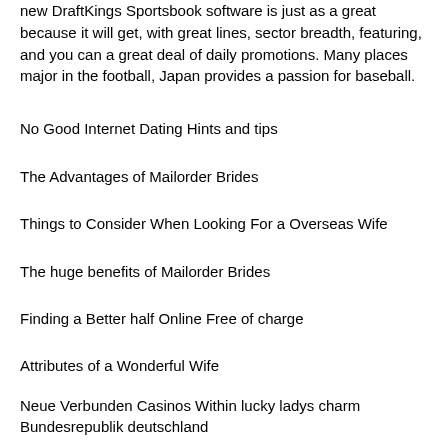new DraftKings Sportsbook software is just as a great because it will get, with great lines, sector breadth, featuring, and you can a great deal of daily promotions. Many places major in the football, Japan provides a passion for baseball.
No Good Internet Dating Hints and tips
The Advantages of Mailorder Brides
Things to Consider When Looking For a Overseas Wife
The huge benefits of Mailorder Brides
Finding a Better half Online Free of charge
Attributes of a Wonderful Wife
Neue Verbunden Casinos Within lucky ladys charm Bundesrepublik deutschland
The particular a Good Partner?